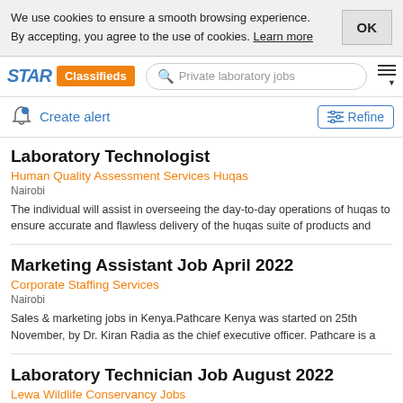We use cookies to ensure a smooth browsing experience. By accepting, you agree to the use of cookies. Learn more
STAR Classifieds — Private laboratory jobs
Create alert
Refine
Laboratory Technologist
Human Quality Assessment Services Huqas
Nairobi
The individual will assist in overseeing the day-to-day operations of huqas to ensure accurate and flawless delivery of the huqas suite of products and
Marketing Assistant Job April 2022
Corporate Staffing Services
Nairobi
Sales & marketing jobs in Kenya.Pathcare Kenya was started on 25th November, by Dr. Kiran Radia as the chief executive officer. Pathcare is a
Laboratory Technician Job August 2022
Lewa Wildlife Conservancy Jobs